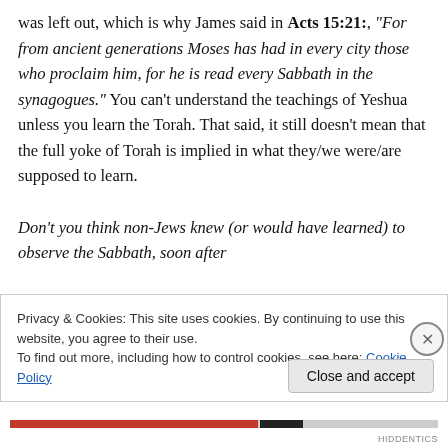was left out, which is why James said in Acts 15:21:, "For from ancient generations Moses has had in every city those who proclaim him, for he is read every Sabbath in the synagogues." You can't understand the teachings of Yeshua unless you learn the Torah. That said, it still doesn't mean that the full yoke of Torah is implied in what they/we were/are supposed to learn.

Don't you think non-Jews knew (or would have learned) to observe the Sabbath, soon after
Privacy & Cookies: This site uses cookies. By continuing to use this website, you agree to their use.
To find out more, including how to control cookies, see here: Cookie Policy
Close and accept